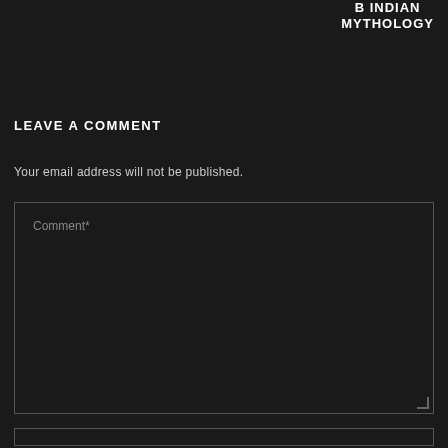B INDIAN MYTHOLOGY
LEAVE A COMMENT
Your email address will not be published.
Comment*